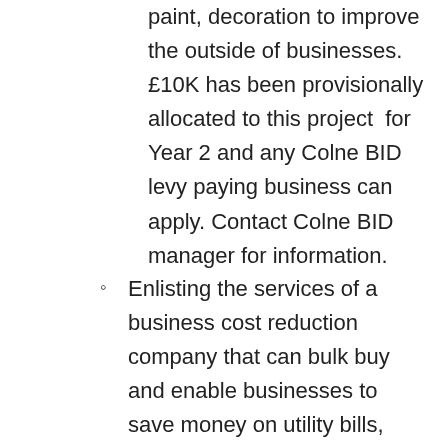paint, decoration to improve the outside of businesses. £10K has been provisionally allocated to this project  for Year 2 and any Colne BID levy paying business can apply. Contact Colne BID manager for information.
Enlisting the services of a business cost reduction company that can bulk buy and enable businesses to save money on utility bills, Water and credit cards machines. Meercat